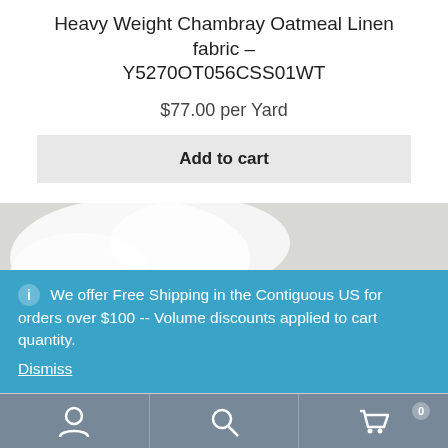Heavy Weight Chambray Oatmeal Linen fabric – Y5270OT056CSS01WT
$77.00 per Yard
Add to cart
[Figure (photo): Close-up photo of heavy weight chambray oatmeal linen fabric, showing white/grey fabric with a green linen texture visible at the bottom portion of the image.]
We offer Free Shipping in the Contiguous US for orders over $100 -- Volume discounts applied to cart quantity. Dismiss
Navigation bar with account, search, and cart (0) icons